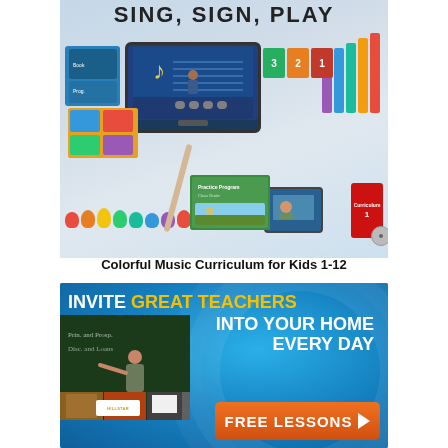[Figure (photo): Sing, Sign, Play colorful music curriculum product image showing a computer monitor with music app, colorful book series, rainbow handbells, recorder flute, tablet, and red curriculum binder on a light blue background]
Colorful Music Curriculum for Kids 1-12
[Figure (photo): Advertisement banner with blue background and globe pattern. Text reads: INVITE GREAT TEACHERS INTO YOUR HOME EVERY DAY. Shows a teacher at a chalkboard. Orange button at bottom reads FREE LESSONS with arrow. Hillstar logo visible.]